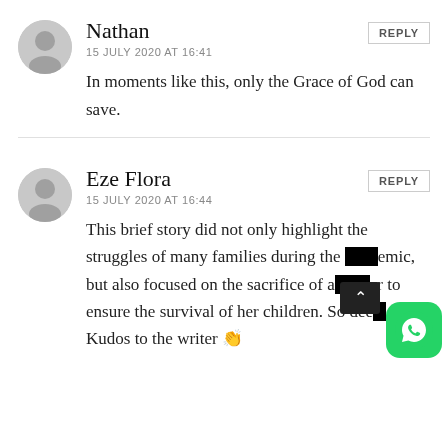Nathan
15 JULY 2020 AT 16:41
REPLY
In moments like this, only the Grace of God can save.
Eze Flora
15 JULY 2020 AT 16:44
REPLY
This brief story did not only highlight the struggles of many families during the pandemic, but also focused on the sacrifice of a mother to ensure the survival of her children. So deep. Kudos to the writer 👏